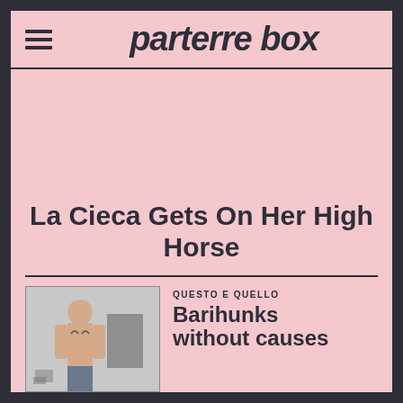parterre box
[Figure (other): Pink background advertisement area]
La Cieca Gets On Her High Horse
[Figure (photo): Shirtless bald man with tattoos standing against a grey wall]
QUESTO E QUELLO
Barihunks without causes